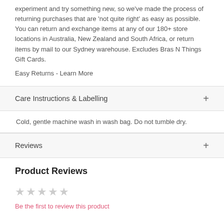experiment and try something new, so we've made the process of returning purchases that are 'not quite right' as easy as possible. You can return and exchange items at any of our 180+ store locations in Australia, New Zealand and South Africa, or return items by mail to our Sydney warehouse. Excludes Bras N Things Gift Cards.
Easy Returns - Learn More
Care Instructions & Labelling
Cold, gentle machine wash in wash bag. Do not tumble dry.
Reviews
Product Reviews
Be the first to review this product